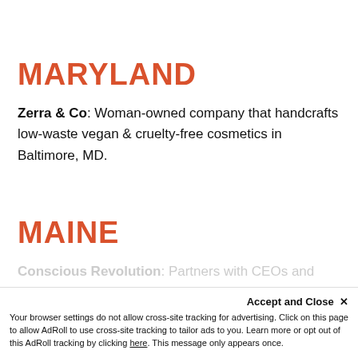MARYLAND
Zerra & Co: Woman-owned company that handcrafts low-waste vegan & cruelty-free cosmetics in Baltimore, MD.
MAINE
Conscious Revolution: Partners with CEOs and...
Accept and Close ✕
Your browser settings do not allow cross-site tracking for advertising. Click on this page to allow AdRoll to use cross-site tracking to tailor ads to you. Learn more or opt out of this AdRoll tracking by clicking here. This message only appears once.